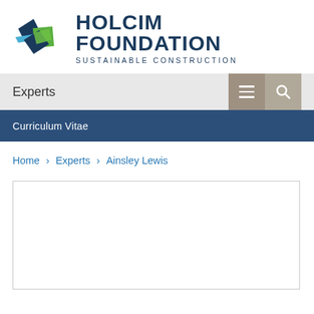[Figure (logo): Holcim Foundation logo with geometric shapes in blue and green, alongside the text HOLCIM FOUNDATION SUSTAINABLE CONSTRUCTION]
Experts
Curriculum Vitae
Home › Experts › Ainsley Lewis
[Figure (other): Empty white content box with border, placeholder for profile content]